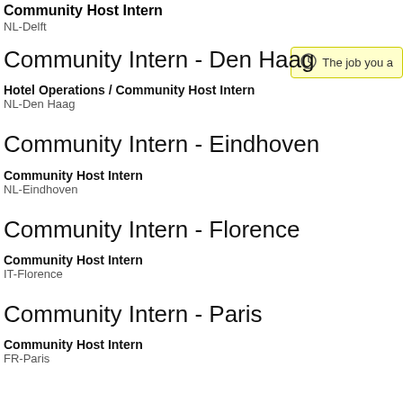Community Host Intern
NL-Delft
Community Intern - Den Haag
Hotel Operations / Community Host Intern
NL-Den Haag
Community Intern - Eindhoven
Community Host Intern
NL-Eindhoven
Community Intern - Florence
Community Host Intern
IT-Florence
Community Intern - Paris
Community Host Intern
FR-Paris